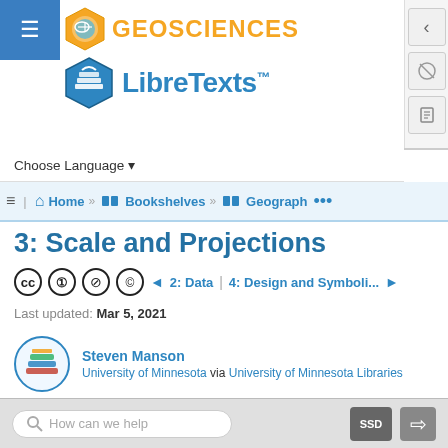[Figure (logo): LibreTexts Geosciences logo with hexagon icon and text 'GEOSCIENCES' in orange, and LibreTexts logo below in blue]
Choose Language ▾
Home » Bookshelves » Geograph ...
3: Scale and Projections
CC BY-NC-SA icons | ◄ 2: Data | 4: Design and Symboli... ►
Last updated: Mar 5, 2021
Steven Manson
University of Minnesota via University of Minnesota Libraries
How can we help